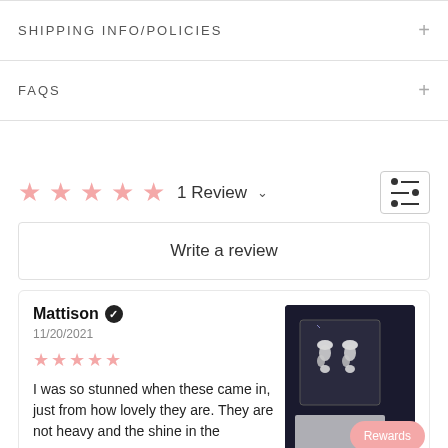SHIPPING INFO/POLICIES
FAQS
1 Review
Write a review
Mattison
11/20/2021
I was so stunned when these came in, just from how lovely they are. They are not heavy and the shine in the
[Figure (photo): Photo of crystal/diamond earrings displayed in a box on a dark background with a pink Rewards button overlay]